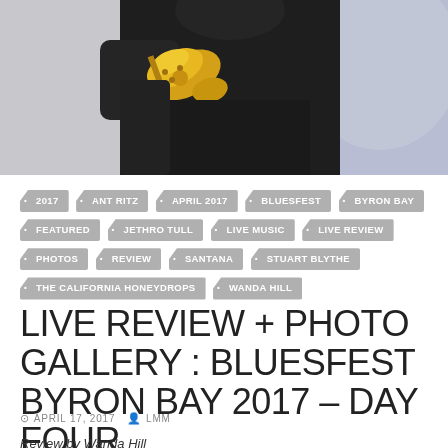[Figure (photo): Top portion of a musician playing a gold instrument (saxophone or similar), wearing dark clothing, with a blurred background]
2017
ANT RITZ
APRIL 2017
BLUESFEST
BYRON BAY
FEATURED
JETHRO TULL
LIVE MUSIC
LIVE REVIEW
PHOTOS
REVIEW
SANTANA
STUART BLYTHE
THE CALIFORNIA HONEYDROPS
WANDA HILL
LIVE REVIEW + PHOTO GALLERY : BLUESFEST BYRON BAY 2017 – DAY FOUR
APRIL 17, 2017   LMM
Review by Wanda Hill